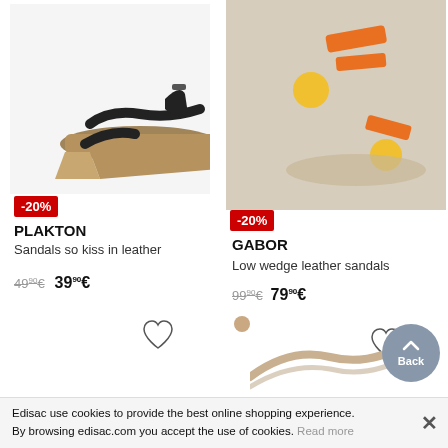[Figure (photo): Black leather wedge sandal with ankle strap on white background]
[Figure (photo): Colorful wedge sandals with orange and yellow details, lifestyle photo]
-20%
-20%
PLAKTON
Sandals so kiss in leather
GABOR
Low wedge leather sandals
49,90€  39,90€
99,90€  79,90€
[Figure (photo): Partial view of a beige sandal or accessory at bottom right]
Back
Edisac use cookies to provide the best online shopping experience. By browsing edisac.com you accept the use of cookies. Read more